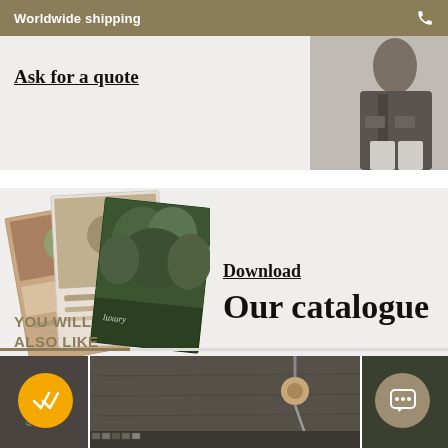Worldwide shipping
Ask for a quote
[Figure (photo): Person wearing leather jacket, partial view]
[Figure (photo): Stacked catalogue cards/brochures with nature imagery]
Download
Our catalogue
YOU WILL
ALSO LIKE
[Figure (photo): Dark stone surface with decorative lamp, bottom product row]